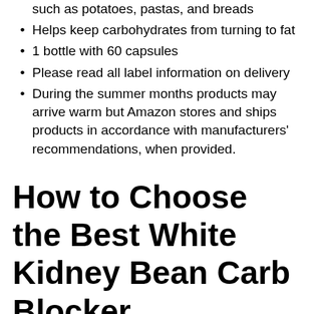such as potatoes, pastas, and breads
Helps keep carbohydrates from turning to fat
1 bottle with 60 capsules
Please read all label information on delivery
During the summer months products may arrive warm but Amazon stores and ships products in accordance with manufacturers' recommendations, when provided.
How to Choose the Best White Kidney Bean Carb Blocker